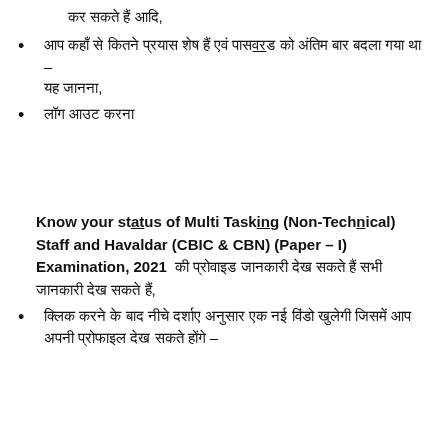कर सकते हैं आदि,
आप कहाँ से कितने प्रयास शेष हैं एवं पासवर्ड को अंतिम बार बदला गया था – यह जानना,
लॉग आउट करना
Know your status of Multi Tasking (Non-Technical) Staff and Havaldar (CBIC & CBN) (Paper – I) Examination, 2021 की प्रोवाइड जानकारी देख सकते हैं सभी जानकारी,
क्लिक करने के बाद नीचे दर्शाए अनुसार एक नई विंडो खुलेगी जिसमें आप अपनी प्रोफाइल देख सकते होंगे –